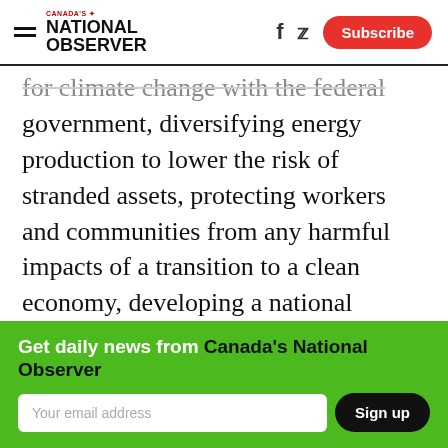Canada's National Observer — [Subscribe]
for climate change with the federal government, diversifying energy production to lower the risk of stranded assets, protecting workers and communities from any harmful impacts of a transition to a clean economy, developing a national energy strategy, and improving transparency.
Environmental Defence senior program
Get daily news from Canada's National Observer
Your email address [Sign up]